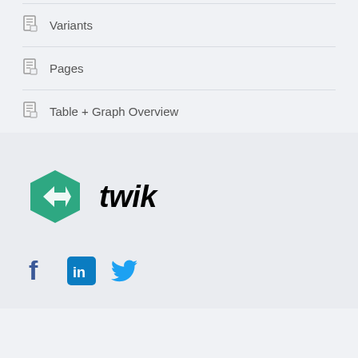Variants
Pages
Table + Graph Overview
[Figure (logo): Twik logo — green hexagon with white arrow chevron and italic bold 'twik' wordmark]
[Figure (infographic): Social media icons: Facebook (dark blue f), LinkedIn (light blue in badge), Twitter (light blue bird)]